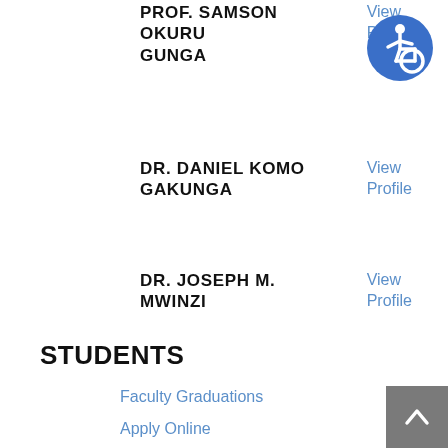PROF. SAMSON OKURU GUNGA
View Profile
[Figure (illustration): Accessibility icon — blue circle with white wheelchair user symbol]
DR. DANIEL KOMO GAKUNGA
View Profile
DR. JOSEPH M. MWINZI
View Profile
STUDENTS
Faculty Graduations
Apply Online
[Figure (illustration): Back to top button — grey square with white upward chevron arrow]